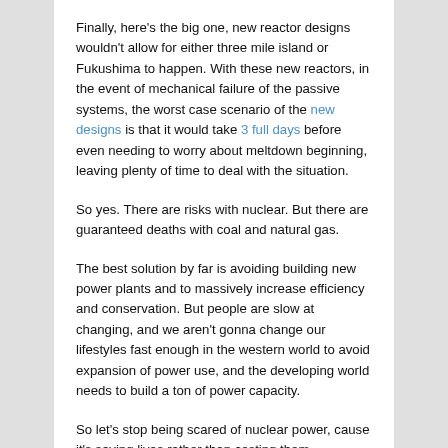Finally, here's the big one, new reactor designs wouldn't allow for either three mile island or Fukushima to happen. With these new reactors, in the event of mechanical failure of the passive systems, the worst case scenario of the new designs is that it would take 3 full days before even needing to worry about meltdown beginning, leaving plenty of time to deal with the situation.
So yes. There are risks with nuclear. But there are guaranteed deaths with coal and natural gas.
The best solution by far is avoiding building new power plants and to massively increase efficiency and conservation. But people are slow at changing, and we aren't gonna change our lifestyles fast enough in the western world to avoid expansion of power use, and the developing world needs to build a ton of power capacity.
So let's stop being scared of nuclear power, cause it's saving lives rather than costing them.